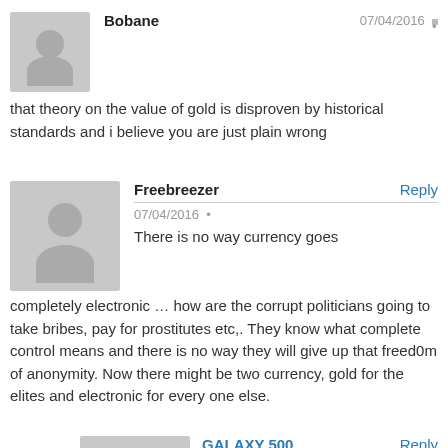[Figure (illustration): Gray avatar placeholder image for user Bobane]
Bobane
07/04/2016
that theory on the value of gold is disproven by historical standards and i believe you are just plain wrong
[Figure (illustration): Gray avatar placeholder image for user Freebreezer]
Freebreezer
Reply
07/04/2016
There is no way currency goes completely electronic … how are the corrupt politicians going to take bribes, pay for prostitutes etc,. They know what complete control means and there is no way they will give up that freed0m of anonymity. Now there might be two currency, gold for the elites and electronic for every one else.
[Figure (illustration): Gray avatar placeholder image for user GALAXY 500]
GALAXY 500
Reply
07/06/2016